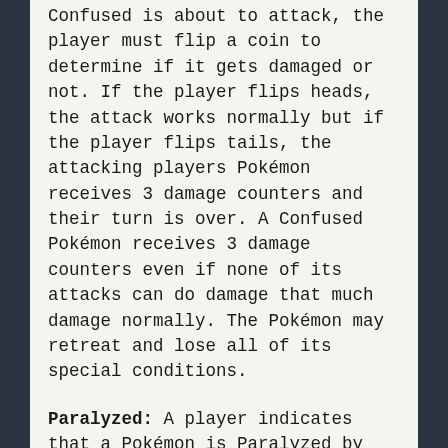Confused is about to attack, the player must flip a coin to determine if it gets damaged or not. If the player flips heads, the attack works normally but if the player flips tails, the attacking players Pokémon receives 3 damage counters and their turn is over. A Confused Pokémon receives 3 damage counters even if none of its attacks can do damage that much damage normally. The Pokémon may retreat and lose all of its special conditions.
Paralyzed: A player indicates that a Pokémon is Paralyzed by turning its card 90 degrees to the right. An active Paralyzed Pokémon cannot attack or retreat during its current turn or immediately after it was Paralyzed. Paralysis ends after this period of time and it does not require any coin to be tossed to remove the Paralysis.